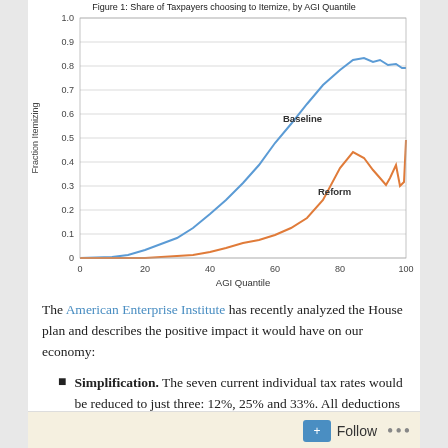[Figure (line-chart): Figure 1: Share of Taxpayers choosing to Itemize, by AGI Quantile]
The American Enterprise Institute has recently analyzed the House plan and describes the positive impact it would have on our economy:
Simplification. The seven current individual tax rates would be reduced to just three: 12%, 25% and 33%. All deductions would be eliminated except for